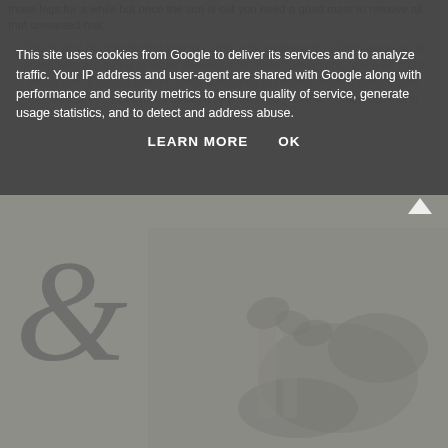This site uses cookies from Google to deliver its services and to analyze traffic. Your IP address and user-agent are shared with Google along with performance and security metrics to ensure quality of service, generate usage statistics, and to detect and address abuse.
LEARN MORE   OK
those legs for a while but once the sun is out you need a good razor to remove all that unwanted hair. This is why I'm introducing you to Estrid, a Scandinavian, 100% vegan razor brand who are trying to make shaving a bit more convenient, and a lot more affordable. Estrid is half the price compared to market-leading competitors like Veet and it's delivered straight to your door. Read on to find out more!
[Figure (illustration): A decorative ampersand/swirl symbol on the left and a floral illustration with razor product on the right, on a muted grey background]